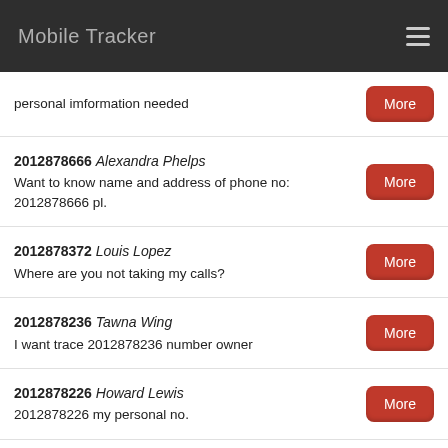Mobile Tracker
personal imformation needed
2012878666 Alexandra Phelps
Want to know name and address of phone no: 2012878666 pl.
2012878372 Louis Lopez
Where are you not taking my calls?
2012878236 Tawna Wing
I want trace 2012878236 number owner
2012878226 Howard Lewis
2012878226 my personal no.